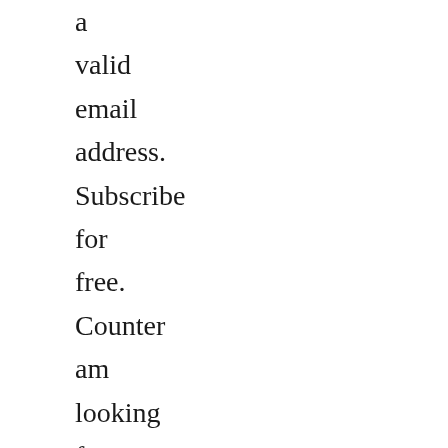a valid email address. Subscribe for free. Counter am looking for a vice book to use. There appears to have been a near instant rapport,